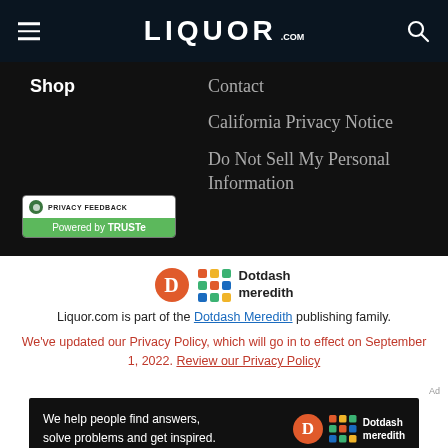LIQUOR.COM
Shop
Contact
California Privacy Notice
Do Not Sell My Personal Information
[Figure (logo): Privacy Feedback - Powered by TRUSTe badge]
[Figure (logo): Dotdash Meredith logo]
Liquor.com is part of the Dotdash Meredith publishing family.
We've updated our Privacy Policy, which will go in to effect on September 1, 2022. Review our Privacy Policy
[Figure (infographic): Ad banner: We help people find answers, solve problems and get inspired. Dotdash meredith]